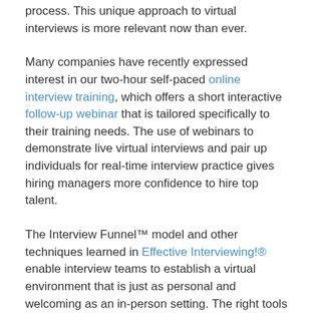process. This unique approach to virtual interviews is more relevant now than ever.
Many companies have recently expressed interest in our two-hour self-paced online interview training, which offers a short interactive follow-up webinar that is tailored specifically to their training needs. The use of webinars to demonstrate live virtual interviews and pair up individuals for real-time interview practice gives hiring managers more confidence to hire top talent.
The Interview Funnel™ model and other techniques learned in Effective Interviewing!® enable interview teams to establish a virtual environment that is just as personal and welcoming as an in-person setting. The right tools can help organizations get the most out of every remote interview, and to take the lead in an increasingly virtual workplace.